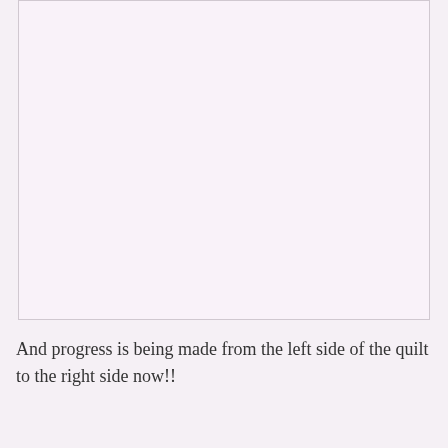[Figure (photo): A large nearly blank pinkish-white rectangle representing an image placeholder or a photo of a quilt with very light/faded content.]
And progress is being made from the left side of the quilt to the right side now!!